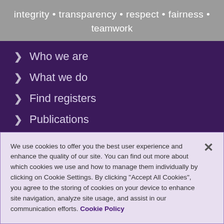integrity • transparency • respect • fairness • teamwork
Who we are
What we do
Find registers
Publications
Sign up to our newsletter
News and blog
We use cookies to offer you the best user experience and enhance the quality of our site. You can find out more about which cookies we use and how to manage them individually by clicking on Cookie Settings. By clicking "Accept All Cookies", you agree to the storing of cookies on your device to enhance site navigation, analyze site usage, and assist in our communication efforts. Cookie Policy